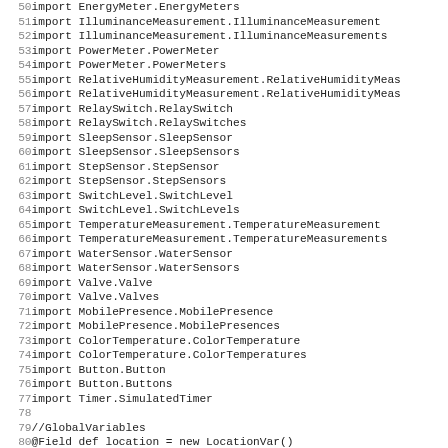Code listing lines 50-82 showing import statements and global variables in a Groovy/SmartThings script